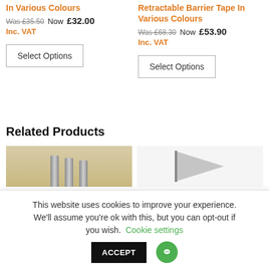In Various Colours
Was £35.50 Now £32.00 Inc. VAT
Select Options
Retractable Barrier Tape In Various Colours
Was £68.30 Now £53.90 Inc. VAT
Select Options
Related Products
[Figure (photo): Product thumbnail showing steel posts on wooden background]
[Figure (photo): Product thumbnail showing a triangular/arrow-shaped item on light background]
This website uses cookies to improve your experience. We'll assume you're ok with this, but you can opt-out if you wish. Cookie settings ACCEPT